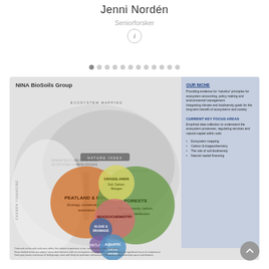Jenni Nordén
Seniorforsker
[Figure (infographic): NINA BioSoils Group diagram showing overlapping circles representing Peatland & Mire, Forests, Grasslands, Biogeochemistry, Aquatic, Algae & Drainage, and Wetlands, within larger grey ovals for Ecosystem Mapping, Nature Index, Ecosystem Services, Infrastructure Impacts on Ecosystem Carbon Stocks, Restoration Ecology, and Carbon Financing. Right panel shows Our Niche and Current Key Focus Areas text.]